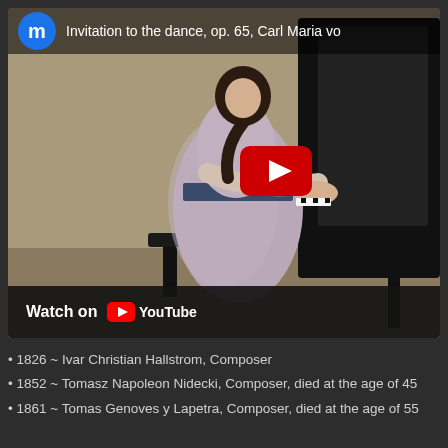[Figure (screenshot): YouTube video embed showing a pianist (woman in floral dress) playing a grand piano on stage. The video title reads 'Invitation to the dance, op. 65, Carl Maria vo...' with a channel icon showing the letter 'm' in blue circle. A red YouTube play button is overlaid on the right side of the video. A 'Watch on YouTube' bar appears at the bottom of the video embed.]
1826 ~ Ivar Christian Hallstrom, Composer
1852 ~ Tomasz Napoleon Nidecki, Composer, died at the age of 45
1861 ~ Tomas Genoves y Lapetra, Composer, died at the age of 55